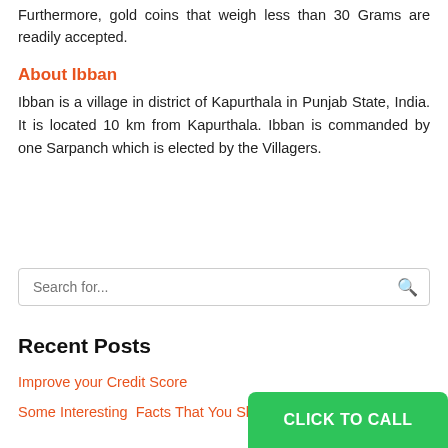Furthermore, gold coins that weigh less than 30 Grams are readily accepted.
About Ibban
Ibban is a village in district of Kapurthala in Punjab State, India. It is located 10 km from Kapurthala. Ibban is commanded by one Sarpanch which is elected by the Villagers.
Search for...
Recent Posts
Improve your Credit Score
Some Interesting  Facts That You Should Know About
CLICK TO CALL